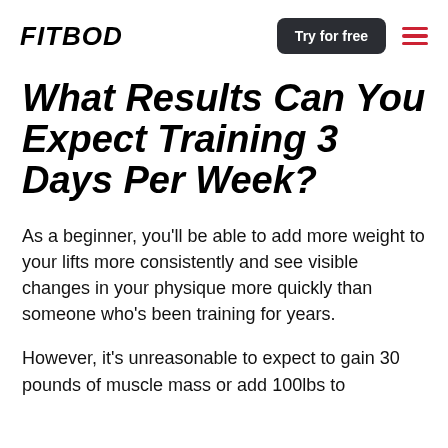FITBOD
What Results Can You Expect Training 3 Days Per Week?
As a beginner, you’ll be able to add more weight to your lifts more consistently and see visible changes in your physique more quickly than someone who’s been training for years.
However, it’s unreasonable to expect to gain 30 pounds of muscle mass or add 100lbs to